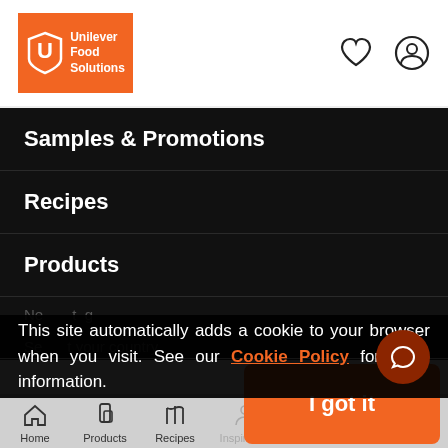[Figure (logo): Unilever Food Solutions logo — orange background with white U shield icon and white text 'Unilever Food Solutions']
Samples & Promotions
Recipes
Products
Training & Academy
Resources
This site automatically adds a cookie to your browser when you visit. See our Cookie Policy for more information.
Home | Products | Recipes | Inspiration (bottom navigation, partially visible)
I got it